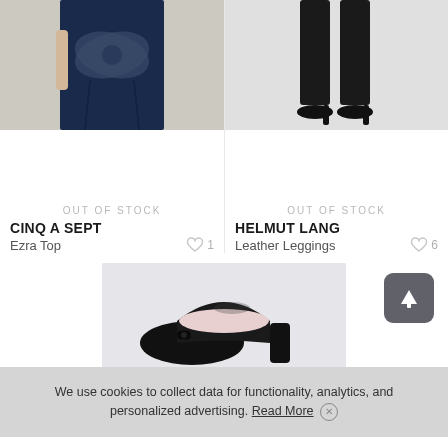[Figure (photo): Navy dress/top with large bow tie detail on a model, product photo]
[Figure (photo): Black leather leggings and black pointed-toe heels on a model, product photo]
OUT OF STOCK
CINQ A SEPT
Ezra Top  ♡ 1
OUT OF STOCK
HELMUT LANG
Leather Leggings  ♡ 6
[Figure (photo): Black patent leather block-heel ballet pumps with bow detail, product photo on light gray background]
We use cookies to collect data for functionality, analytics, and personalized advertising. Read More ✕